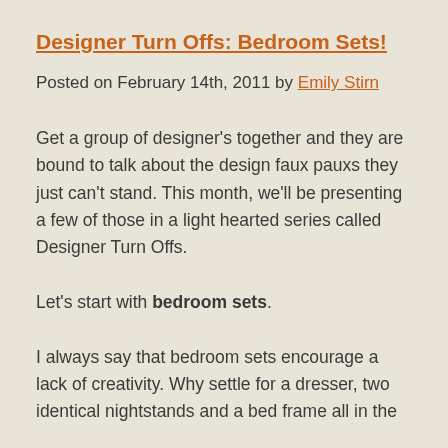Designer Turn Offs: Bedroom Sets!
Posted on February 14th, 2011 by Emily Stirn
Get a group of designer’s together and they are bound to talk about the design faux pauxs they just can’t stand.  This month, we’ll be presenting a few of those in a light hearted series called Designer Turn Offs.
Let’s start with bedroom sets.
I always say that bedroom sets encourage a lack of creativity.  Why settle for a dresser, two identical nightstands and a bed frame all in the same finish as a set!? Do something fun